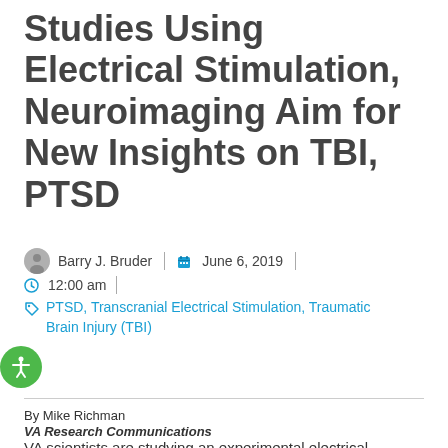Studies Using Electrical Stimulation, Neuroimaging Aim for New Insights on TBI, PTSD
Barry J. Bruder | June 6, 2019 | 12:00 am
PTSD, Transcranial Electrical Stimulation, Traumatic Brain Injury (TBI)
By Mike Richman
VA Research Communications
VA scientists are studying an experimental electrical stimulation technique, coupled with neuroimaging, to learn how mild traumatic brain